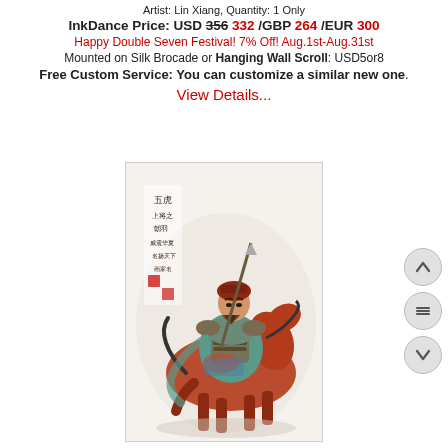Artist: Lin Xiang, Quantity: 1 Only
InkDance Price: USD 356 332 /GBP 264 /EUR 300
Happy Double Seven Festival! 7% Off! Aug.1st-Aug.31st
Mounted on Silk Brocade or Hanging Wall Scroll: USD5or8
Free Custom Service: You can customize a similar new one.
View Details...
[Figure (illustration): Chinese ink painting depicting a warrior (possibly Guan Yu) in armor riding a red horse, holding a spear, with Chinese calligraphy inscription in upper left corner.]